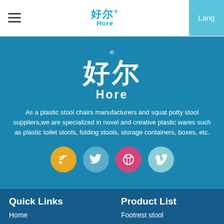好尔® Hore | Lang
[Figure (logo): Hore brand logo with Chinese characters 好尔 and registered trademark symbol, large white on blue background]
As a plastic stool chairs manufacturers and squat potty stool suppliers,we are specialized in novel and creative plastic wares such as plastic toilet stools, folding stools, storage containers, boxes, etc.
[Figure (infographic): Four social media icons in circles: RSS (yellow/orange), Twitter (blue), Dribbble (pink/red), Vimeo (light blue)]
Quick Links
Product List
Home
Footrest stool